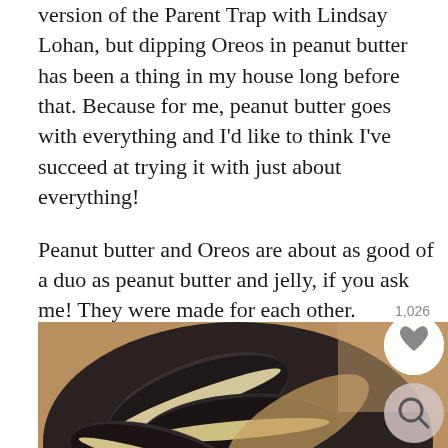version of the Parent Trap with Lindsay Lohan, but dipping Oreos in peanut butter has been a thing in my house long before that. Because for me, peanut butter goes with everything and I'd like to think I've succeed at trying it with just about everything!
Peanut butter and Oreos are about as good of a duo as peanut butter and jelly, if you ask me! They were made for each other.
[Figure (photo): Close-up photo of Oreo cookies dipped in peanut butter, stacked in a bowl. The image shows the dark Oreo cookies with cream filling coated in tan/beige peanut butter. A love/heart icon button and a search/magnify icon button are visible in the top right corner of the image. The bottom portion of the image fades to a lighter gray showing more cookies.]